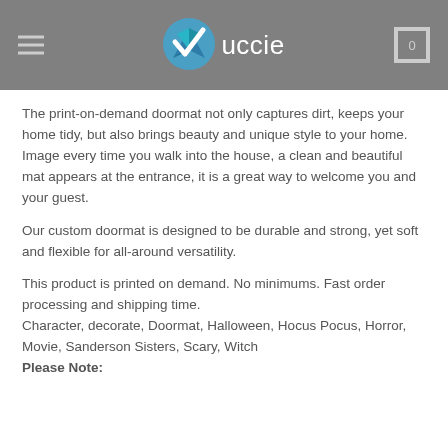uccie
The print-on-demand doormat not only captures dirt, keeps your home tidy, but also brings beauty and unique style to your home. Image every time you walk into the house, a clean and beautiful mat appears at the entrance, it is a great way to welcome you and your guest.
Our custom doormat is designed to be durable and strong, yet soft and flexible for all-around versatility.
This product is printed on demand. No minimums. Fast order processing and shipping time.
Character, decorate, Doormat, Halloween, Hocus Pocus, Horror, Movie, Sanderson Sisters, Scary, Witch
Please Note: